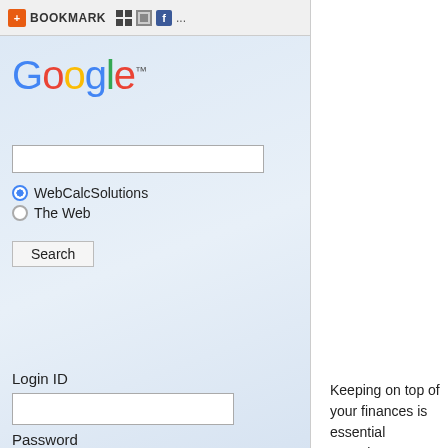BOOKMARK ...
[Figure (logo): Google logo with trademark symbol]
WebCalcSolutions (selected radio button)
The Web (radio button)
Search (button)
Login ID
Password
Login (button) Login Page (link)
Keeping on top of your finances is essential especia... increasing opportunities to invest your money. Fina... can help you calculate your mortgage or credit. Rem... understanding your financial situation is the first sto...